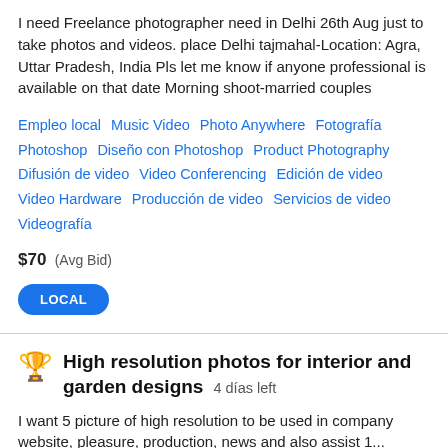I need Freelance photographer need in Delhi 26th Aug just to take photos and videos. place Delhi tajmahal-Location: Agra, Uttar Pradesh, India Pls let me know if anyone professional is available on that date Morning shoot-married couples
Empleo local  Music Video  Photo Anywhere  Fotografía  Photoshop  Diseño con Photoshop  Product Photography  Difusión de video  Video Conferencing  Edición de video  Video Hardware  Producción de video  Servicios de video  Videografía
$70  (Avg Bid)
LOCAL
High resolution photos for interior and garden designs  4 días left
I want 5 picture of high resolution to be used in company website, pleasure, production, news and also assist 1...